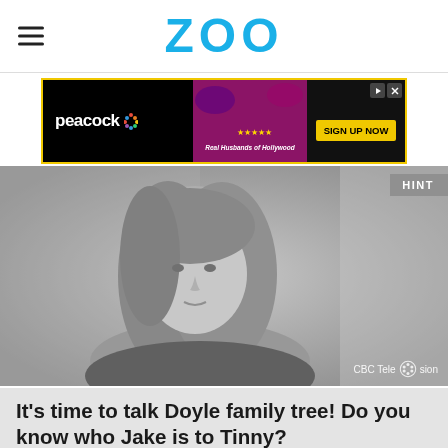ZOO
[Figure (screenshot): Peacock streaming service advertisement banner with 'SIGN UP NOW' button and 'Real Husbands of Hollywood' show promo]
[Figure (screenshot): Grayscale video thumbnail showing a woman with long hair, CBC Television watermark in bottom right, HINT button in top right]
It's time to talk Doyle family tree! Do you know who Jake is to Tinny?